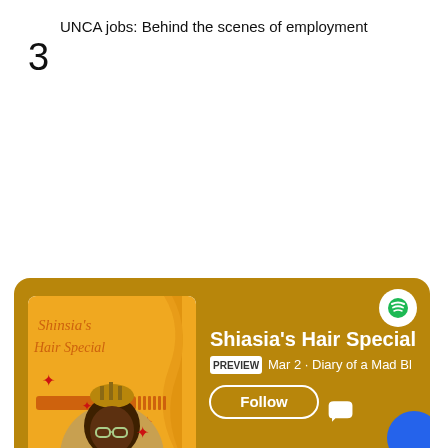UNCA jobs: Behind the scenes of employment
3
[Figure (screenshot): Spotify podcast card for 'Shiasia's Hair Special' showing album artwork with a woman wearing a crown, podcast title, PREVIEW badge, 'Mar 2 · Diary of a Mad Bl' subtitle text, and a Follow button on a dark golden/brown background. Spotify logo in top right. Two blue circular buttons (chat and like/thumbs-up) on the right side. Three dots at bottom.]